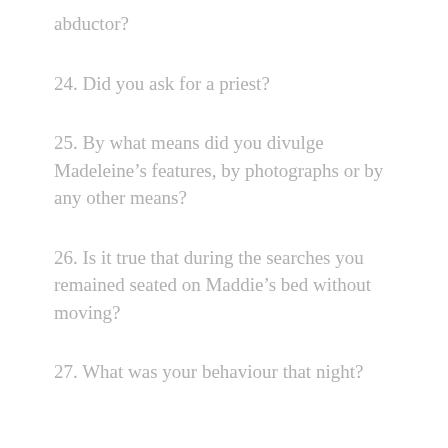abductor?
24. Did you ask for a priest?
25. By what means did you divulge Madeleine’s features, by photographs or by any other means?
26. Is it true that during the searches you remained seated on Maddie’s bed without moving?
27. What was your behaviour that night?